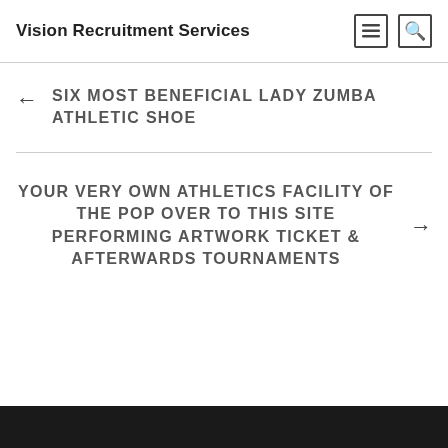Vision Recruitment Services
← SIX MOST BENEFICIAL LADY ZUMBA ATHLETIC SHOE
YOUR VERY OWN ATHLETICS FACILITY OF THE POP OVER TO THIS SITE PERFORMING ARTWORK TICKET & AFTERWARDS TOURNAMENTS →